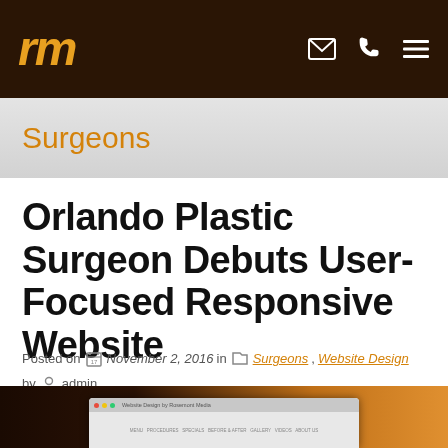rm
Surgeons
Orlando Plastic Surgeon Debuts User-Focused Responsive Website
Posted on November 2, 2016 in Surgeons, Website Design by admin
[Figure (screenshot): Screenshot of a website design on a dark background with an orange glowing logo, shown inside a browser window mockup]